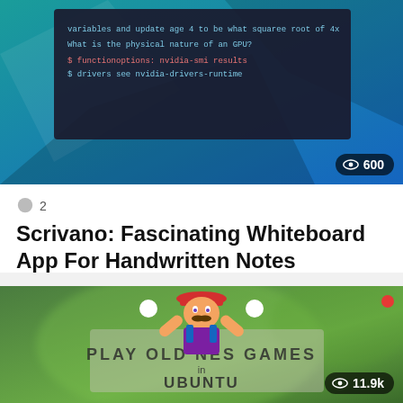[Figure (screenshot): Screenshot of a dark terminal/command line interface with green and red text, showing GPU-related commands. Background has teal/blue geometric shapes.]
💬 2
Scrivano: Fascinating Whiteboard App For Handwritten Notes
[Figure (photo): Photo showing a Mario figurine with arms raised, in front of a blurred green background. Overlaid text reads PLAY OLD NES GAMES in UBUNTU. A red recording dot is visible in the top right corner. View count badge shows 11.9k.]